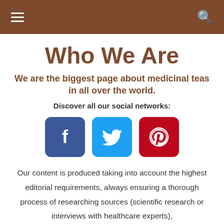Who We Are
We are the biggest page about medicinal teas in all over the world.
Discover all our social networks:
[Figure (other): Three social media icon buttons: Facebook (blue square with f logo), Twitter (light blue square with bird logo), Pinterest (dark red square with P logo)]
Our content is produced taking into account the highest editorial requirements, always ensuring a thorough process of researching sources (scientific research or interviews with healthcare experts),